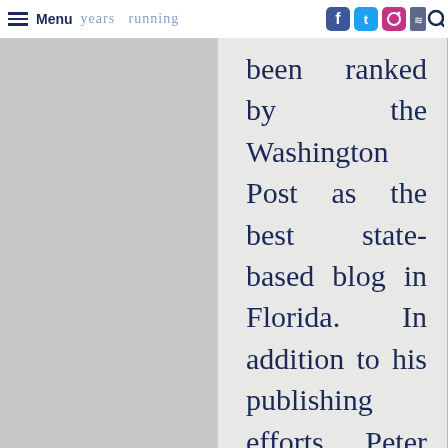Menu years running
been ranked by the Washington Post as the best state-based blog in Florida. In addition to his publishing efforts, Peter is a political consultant to several of the state's largest governmental affairs and public relations firms. Peter lives in St. Petersburg with his wife, Michelle, and